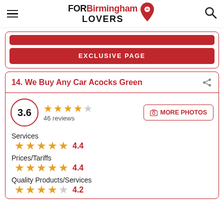FOR Birmingham LOVERS
[Figure (screenshot): Partial red button area and EXCLUSIVE PAGE button]
14. We Buy Any Car Acocks Green
3.6 — 46 reviews — 4 out of 5 stars
Services 4.4
Prices/Tariffs 4.4
Quality Products/Services 4.2